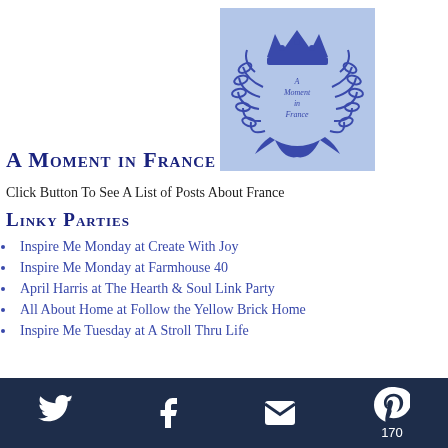A Moment in France
[Figure (logo): A Moment in France logo: blue crown and laurel wreath illustration on light blue background with text 'A Moment in France']
Click Button To See A List of Posts About France
Linky Parties
Inspire Me Monday at Create With Joy
Inspire Me Monday at Farmhouse 40
April Harris at The Hearth & Soul Link Party
All About Home at Follow the Yellow Brick Home
Inspire Me Tuesday at A Stroll Thru Life
Social icons: Twitter, Facebook, Email, Pinterest (170)